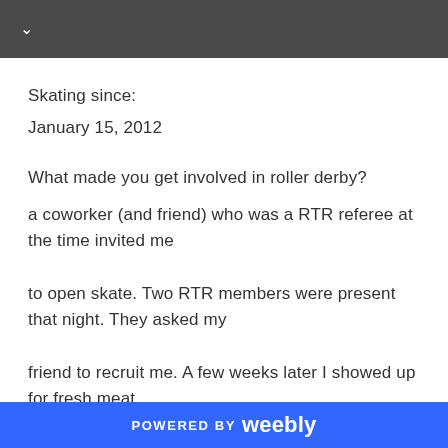Skating since:
January 15, 2012
What made you get involved in roller derby?
a coworker (and friend) who was a RTR referee at the time invited me to open skate. Two RTR members were present that night. They asked my friend to recruit me. A few weeks later I showed up for fresh meat recruitment day. I was hooked. I had no idea about any of the
POWERED BY weebly